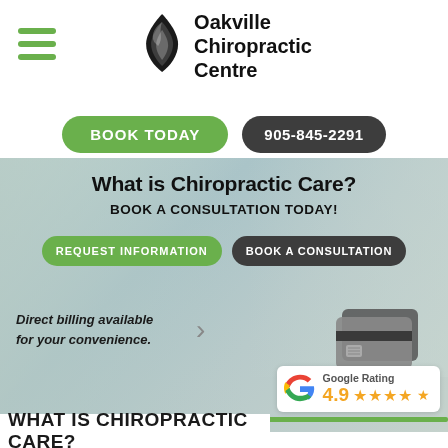[Figure (logo): Oakville Chiropractic Centre logo with flame/leaf icon]
Oakville Chiropractic Centre
BOOK TODAY
905-845-2291
[Figure (photo): Background photo of chiropractic treatment session]
What is Chiropractic Care?
BOOK A CONSULTATION TODAY!
REQUEST INFORMATION
BOOK A CONSULTATION
Direct billing available for your convenience.
[Figure (illustration): Credit card icon illustration]
[Figure (logo): Google G logo]
Google Rating
4.9 ★★★★★
WHAT IS CHIROPRACTIC CARE?